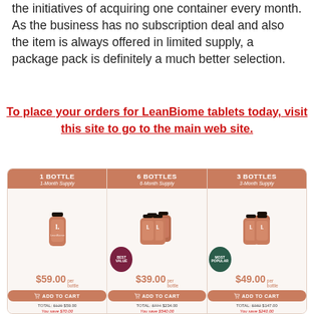the initiatives of acquiring one container every month. As the business has no subscription deal and also the item is always offered in limited supply, a package pack is definitely a much better selection.
To place your orders for LeanBiome tablets today, visit this site to go to the main web site.
[Figure (infographic): Pricing table showing 3 LeanBiome bottle options: 1 Bottle (1-Month Supply) $59.00/bottle, ADD TO CART, TOTAL: $129 $59.00, You save $70.00; 6 Bottles (6-Month Supply) $39.00/bottle, BEST VALUE badge, ADD TO CART, TOTAL: $774 $234.00, You save $540.00; 3 Bottles (2-Month Supply) $49.00/bottle, MOST POPULAR badge, ADD TO CART, TOTAL: $382 $147.00, You save $240.00]